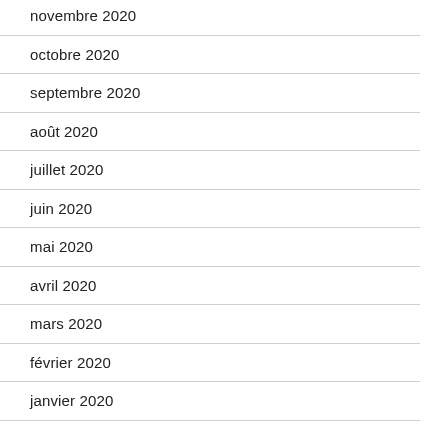novembre 2020
octobre 2020
septembre 2020
août 2020
juillet 2020
juin 2020
mai 2020
avril 2020
mars 2020
février 2020
janvier 2020